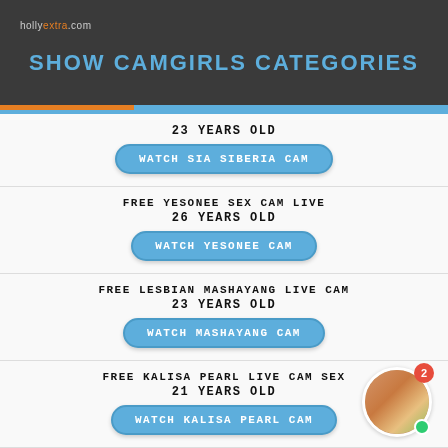hollyextra.com
SHOW CAMGIRLS CATEGORIES
23 YEARS OLD
WATCH SIA SIBERIA CAM
FREE YESONEE SEX CAM LIVE
26 YEARS OLD
WATCH YESONEE CAM
FREE LESBIAN MASHAYANG LIVE CAM
23 YEARS OLD
WATCH MASHAYANG CAM
FREE KALISA PEARL LIVE CAM SEX
21 YEARS OLD
WATCH KALISA PEARL CAM
FREE MIMI MORGANE PETITE FRENCH CAM GIRL LIVE SEX
19 YEARS OLD